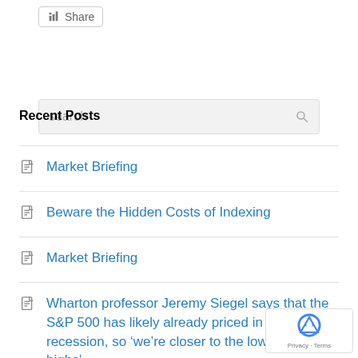[Figure (other): LinkedIn Share button with share icon and text]
[Figure (other): Search input box with placeholder text 'search' and magnifier icon]
Recent Posts
Market Briefing
Beware the Hidden Costs of Indexing
Market Briefing
Wharton professor Jeremy Siegel says that the S&P 500 has likely already priced in a recession, so ‘we’re closer to the lows than the highs’
Market Briefing